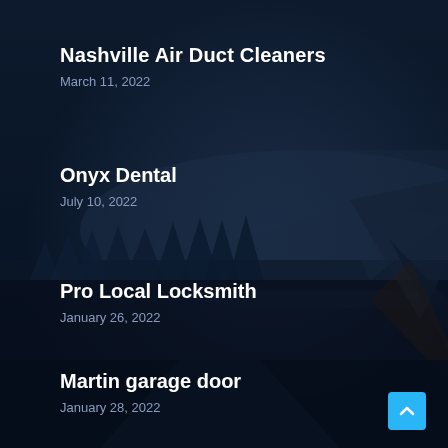[Figure (photo): Dark navy blue background with forest/mountain scenery and tree silhouettes, used as a full-page background image]
Nashville Air Duct Cleaners
March 11, 2022
Onyx Dental
July 10, 2022
Pro Local Locksmith
January 26, 2022
Martin garage door
January 28, 2022
Acadiana Comfort Systems
July 6, 2022